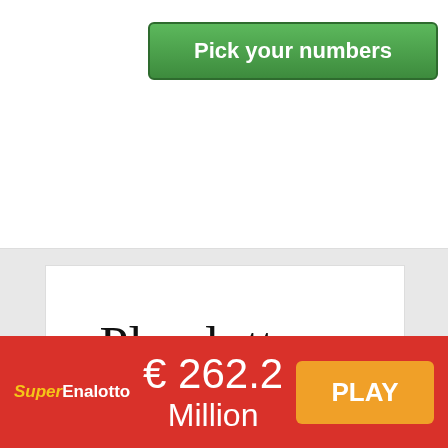[Figure (screenshot): Green button labeled 'Pick your numbers' on a white background section]
Play lottery, casino games online!
[Figure (infographic): SuperEnalotto red advertisement banner showing € 262.2 Million jackpot with orange PLAY button]